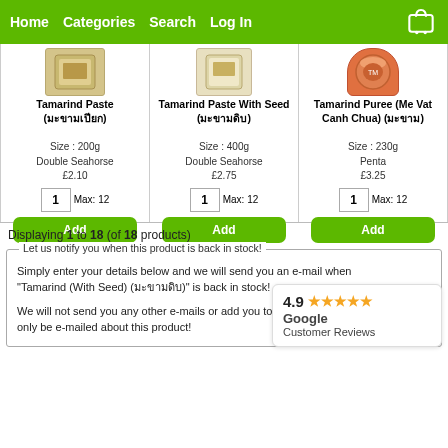Home   Categories   Search   Log In
[Figure (screenshot): Product card: Tamarind Paste image (woven basket/package)]
[Figure (screenshot): Product card: Tamarind Paste With Seed image (light colored package)]
[Figure (screenshot): Product card: Tamarind Puree (Me Vat Canh Chua) image (orange jar)]
Tamarind Paste (มะขามเปียก)
Size : 200g
Double Seahorse
£2.10
1  Max: 12
Add
Tamarind Paste With Seed (มะขามดิบ)
Size : 400g
Double Seahorse
£2.75
1  Max: 12
Add
Tamarind Puree (Me Vat Canh Chua) (มะขาม)
Size : 230g
Penta
£3.25
1  Max: 12
Add
Displaying 1 to 18 (of 18 products)
Let us notify you when this product is back in stock!
Simply enter your details below and we will send you an e-mail when "Tamarind (With Seed) (มะขามดิบ)" is back in stock!
We will not send you any other e-mails or add you to our mailing list, you will only be e-mailed about this product!